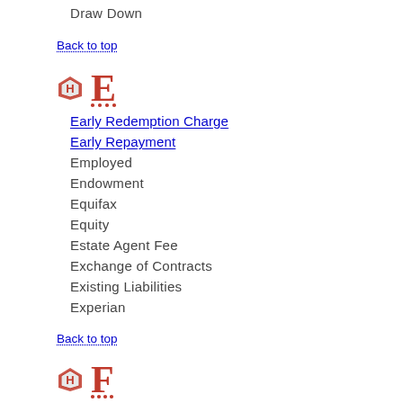Draw Down
Back to top
E
Early Redemption Charge
Early Repayment
Employed
Endowment
Equifax
Equity
Estate Agent Fee
Exchange of Contracts
Existing Liabilities
Experian
Back to top
F
Financial Ombudsman Service [FOS]